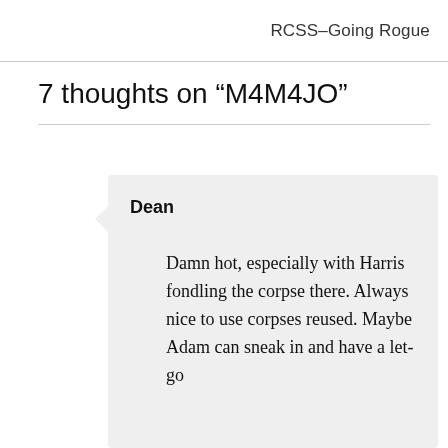RCSS–Going Rogue
7 thoughts on “M4M4JO”
Dean

Damn hot, especially with Harris fondling the corpse there. Always nice to use corpses reused. Maybe Adam can sneak in and have a let-go